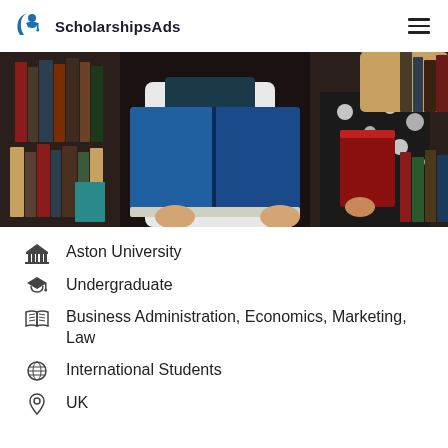ScholarshipsAds
[Figure (photo): Two people in a library, one holding open a blue book, surrounded by bookshelves with many books]
Aston University
Undergraduate
Business Administration, Economics, Marketing, Law
International Students
UK